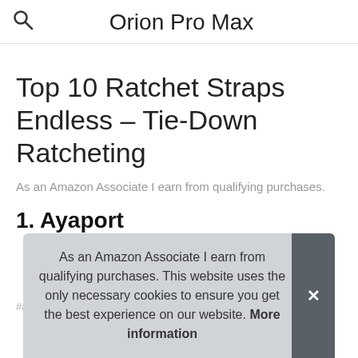Orion Pro Max
Top 10 Ratchet Straps Endless – Tie-Down Ratcheting
As an Amazon Associate I earn from qualifying purchases.
1. Ayaport
#ad
As an Amazon Associate I earn from qualifying purchases. This website uses the only necessary cookies to ensure you get the best experience on our website. More information